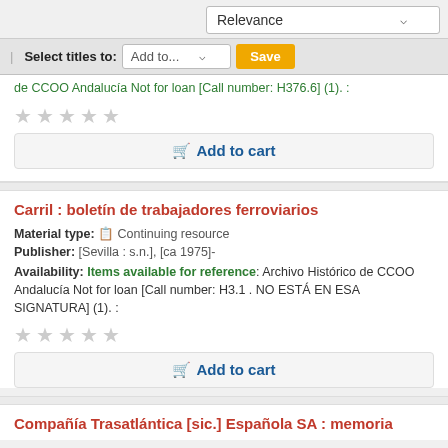Relevance (dropdown)
Select titles to: Add to... Save
de CCOO Andalucía Not for loan [Call number: H376.6] (1). :
★★★★★ (empty stars rating)
Add to cart
Carril : boletín de trabajadores ferroviarios
Material type: Continuing resource
Publisher: [Sevilla : s.n.], [ca 1975]-
Availability: Items available for reference: Archivo Histórico de CCOO Andalucía Not for loan [Call number: H3.1 . NO ESTÁ EN ESA SIGNATURA] (1). :
★★★★★ (empty stars rating)
Add to cart
Compañía Trasatlántica [sic.] Española SA : memoria